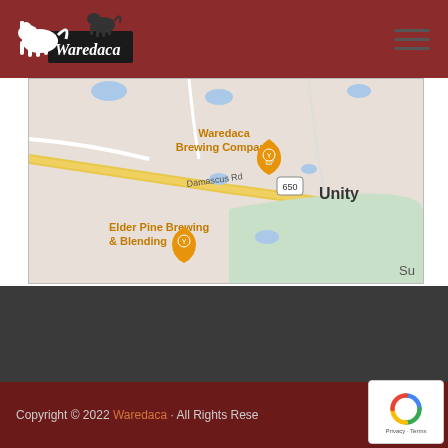Waredaca (logo and navigation header)
[Figure (map): Google Maps screenshot showing Waredaca Brewing Company and Elder Pine Brewing & Blending near Damascus Rd and Unity, with route 650 visible. Orange map pins mark the two brewery locations. A green area is visible near Unity.]
Copyright © 2022 Waredaca · All Rights Reserved